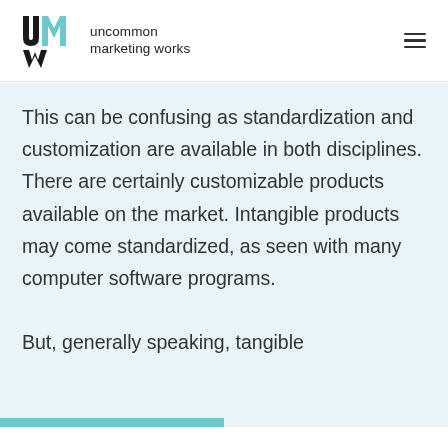[Figure (logo): Uncommon Marketing Works logo: UMW monogram with teal and black colors, beside the text 'uncommon marketing works']
This can be confusing as standardization and customization are available in both disciplines. There are certainly customizable products available on the market. Intangible products may come standardized, as seen with many computer software programs.
But, generally speaking, tangible